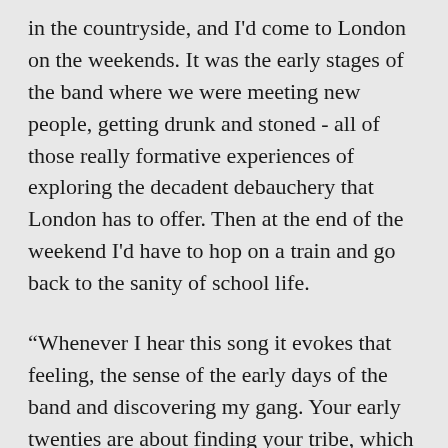in the countryside, and I'd come to London on the weekends. It was the early stages of the band where we were meeting new people, getting drunk and stoned - all of those really formative experiences of exploring the decadent debauchery that London has to offer. Then at the end of the weekend I'd have to hop on a train and go back to the sanity of school life.
“Whenever I hear this song it evokes that feeling, the sense of the early days of the band and discovering my gang. Your early twenties are about finding your tribe, which is what I did during that time by travelling to London and having those formative